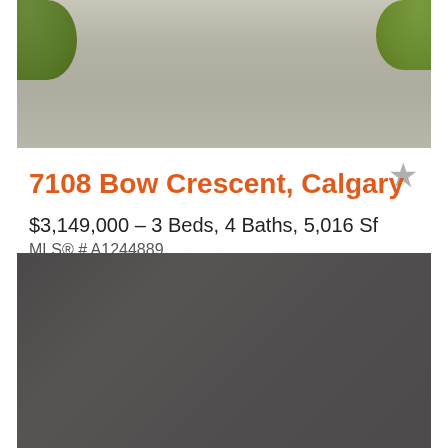[Figure (photo): Exterior photo of property driveway with green bushes/hedges visible at the top corners and a wide paved driveway surface]
7108 Bow Crescent, Calgary
$3,149,000 – 3 Beds, 4 Baths, 5,016 Sf
MLS® # A1244889
EXP REALTY
[Figure (photo): Dark gray interior or secondary photo, mostly solid dark gray/charcoal color]